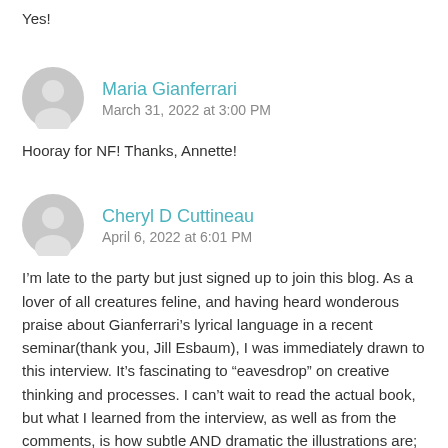Yes!
Maria Gianferrari
March 31, 2022 at 3:00 PM
Hooray for NF! Thanks, Annette!
Cheryl D Cuttineau
April 6, 2022 at 6:01 PM
I’m late to the party but just signed up to join this blog. As a lover of all creatures feline, and having heard wonderous praise about Gianferrari’s lyrical language in a recent seminar(thank you, Jill Esbaum), I was immediately drawn to this interview. It’s fascinating to “eavesdrop” on creative thinking and processes. I can’t wait to read the actual book, but what I learned from the interview, as well as from the comments, is how subtle AND dramatic the illustrations are;